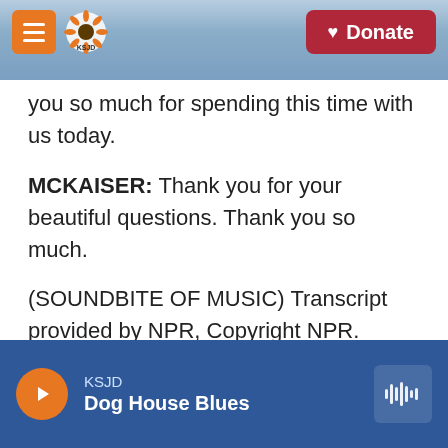[Figure (screenshot): KSJD radio website header with orange menu button, KSJD sunflower logo, mountain background, and red Donate button]
you so much for spending this time with us today.
MCKAISER: Thank you for your beautiful questions. Thank you so much.
(SOUNDBITE OF MUSIC) Transcript provided by NPR, Copyright NPR.
[Figure (infographic): Social share buttons: Facebook (blue f), Twitter (blue bird), LinkedIn (blue in), and email envelope icon]
[Figure (infographic): KSJD audio player footer with orange play button, station name KSJD, song title Dog House Blues, and waveform icon]